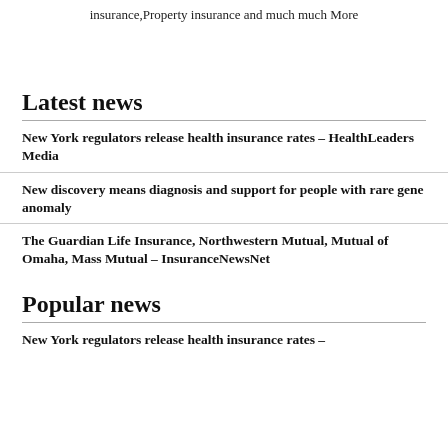insurance,Property insurance and much much More
Latest news
New York regulators release health insurance rates – HealthLeaders Media
New discovery means diagnosis and support for people with rare gene anomaly
The Guardian Life Insurance, Northwestern Mutual, Mutual of Omaha, Mass Mutual – InsuranceNewsNet
Popular news
New York regulators release health insurance rates –